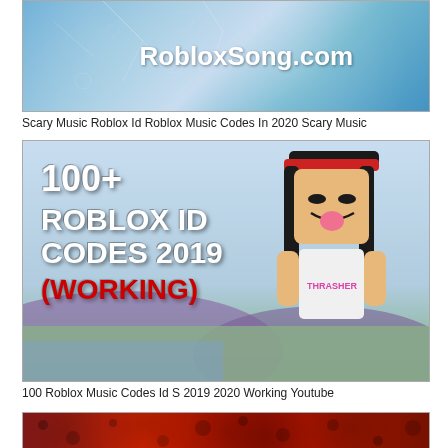[Figure (illustration): Dark blue-grey icy/cracked texture banner with text 'RobloxSong.com' in bold white font on the right side]
Scary Music Roblox Id Roblox Music Codes In 2020 Scary Music
[Figure (illustration): Roblox game screenshot thumbnail showing text '100+ ROBLOX ID CODES 2019 (WORKING)' in white and red bold font on left side, with a Roblox female character wearing a Thrasher shirt on the right, purple/blue landscape background]
100 Roblox Music Codes Id S 2019 2020 Working Youtube
[Figure (illustration): Partial red/dark red textured banner at bottom of page, partially cut off]